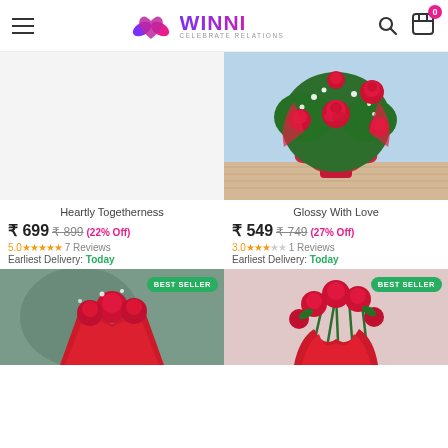WINNI - CELEBRATE RELATIONS
[Figure (photo): Glossy With Love - red roses bouquet with white filler flowers wrapped in red paper, on wooden surface with light blue background]
Heartly Togetherness
₹ 699  ₹ 899  (22% Off)
5.0 ★★★★★ 7 Reviews
Earliest Delivery: Today
Glossy With Love
₹ 549  ₹ 749  (27% Off)
3.0 ★★★☆☆ 1 Reviews
Earliest Delivery: Today
[Figure (photo): Red roses bouquet wrapped in red paper - BEST SELLER]
[Figure (photo): Red roses bunch with stems wrapped in red paper - BEST SELLER]